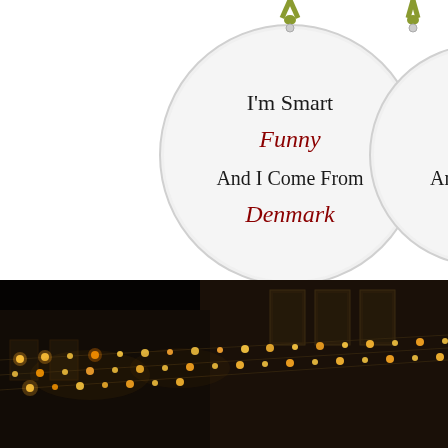[Figure (photo): Two circular ceramic ornaments hanging by ribbons on a white background. The left ornament reads 'I'm Smart Funny And I Come From Denmark' with 'Funny' and 'Denmark' in red text and the rest in black. The right ornament is partially visible showing 'An' in black text. Both have a small hole at the top for the ribbon.]
[Figure (photo): Nighttime street scene showing a building facade with windows illuminated, and strings of warm yellow/orange Christmas lights or festive lights strung across diagonally in the foreground against a dark night sky.]